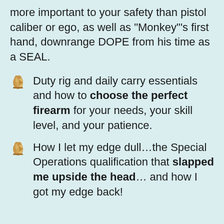more important to your safety than pistol caliber or ego, as well as "Monkey"'s first hand, downrange DOPE from his time as a SEAL.
Duty rig and daily carry essentials and how to choose the perfect firearm for your needs, your skill level, and your patience.
How I let my edge dull…the Special Operations qualification that slapped me upside the head… and how I got my edge back!